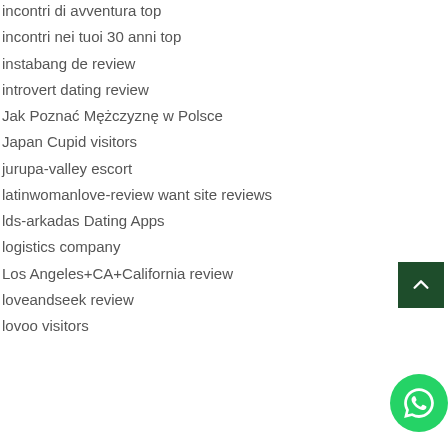incontri di avventura top
incontri nei tuoi 30 anni top
instabang de review
introvert dating review
Jak Poznać Mężczyznę w Polsce
Japan Cupid visitors
jurupa-valley escort
latinwomanlove-review want site reviews
lds-arkadas Dating Apps
logistics company
Los Angeles+CA+California review
loveandseek review
lovoo visitors
[Figure (other): Scroll to top button (dark green square with upward chevron arrow)]
[Figure (other): WhatsApp contact button (green circle with phone/WhatsApp icon)]